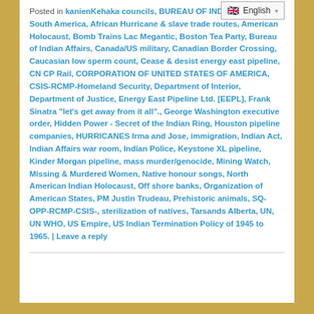Posted in kanienKehaka councils, BUREAU OF INDIAN AFFAIRS, South America, African Hurricane & slave trade routes, American Holocaust, Bomb Trains Lac Megantic, Boston Tea Party, Bureau of Indian Affairs, Canada/US military, Canadian Border Crossing, Caucasian low sperm count, Cease & desist energy east pipeline, CN CP Rail, CORPORATION OF UNITED STATES OF AMERICA, CSIS-RCMP-Homeland Security, Department of Interior, Department of Justice, Energy East Pipeline Ltd. [EEPL], Frank Sinatra "let's get away from it all"., George Washington executive order, Hidden Power - Secret of the Indian Ring, Houston pipeline companies, HURRICANES Irma and Jose, immigration, Indian Act, Indian Affairs war room, Indian Police, Keystone XL pipeline, Kinder Morgan pipeline, mass murder/genocide, Mining Watch, Missing & Murdered Women, Native honour songs, North American Indian Holocaust, Off shore banks, Organization of American States, PM Justin Trudeau, Prehistoric animals, SQ-OPP-RCMP-CSIS-, sterilization of natives, Tarsands Alberta, UN, UN WHO, US Empire, US Indian Termination Policy of 1945 to 1965. | Leave a reply